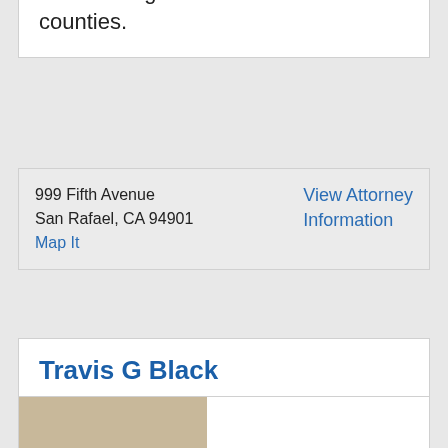the San Francisco Bay Area including the Napa and Sonoma wine-tasting counties.
999 Fifth Avenue
San Rafael, CA 94901
Map It
View Attorney Information
Travis G Black
[Figure (photo): Partial photo of attorney Travis G Black]